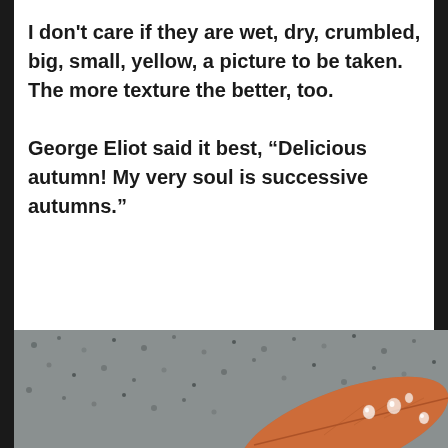I don't care if they are wet, dry, crumbled, big, small, yellow, a picture to be taken.  The more texture the better, too.

George Eliot said it best, “Delicious autumn! My very soul is successive autumns.”
[Figure (photo): Close-up photo of a wet autumn leaf with water droplets resting on a rough concrete or stone surface. The leaf is reddish-orange with visible veins and water droplets. The background is a gray textured concrete/stone surface.]